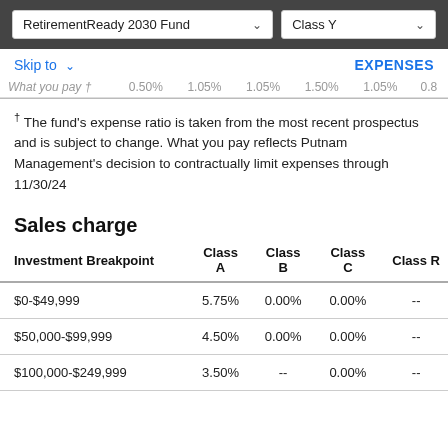RetirementReady 2030 Fund | Class Y
Skip to   EXPENSES
| What you pay † | 0.50% | 1.05% | 1.05% | 1.50% | 1.05% | 0.8 |
| --- | --- | --- | --- | --- | --- | --- |
† The fund's expense ratio is taken from the most recent prospectus and is subject to change. What you pay reflects Putnam Management's decision to contractually limit expenses through 11/30/24
Sales charge
| Investment Breakpoint | Class A | Class B | Class C | Class R |
| --- | --- | --- | --- | --- |
| $0-$49,999 | 5.75% | 0.00% | 0.00% | -- |
| $50,000-$99,999 | 4.50% | 0.00% | 0.00% | -- |
| $100,000-$249,999 | 3.50% | -- | 0.00% | -- |